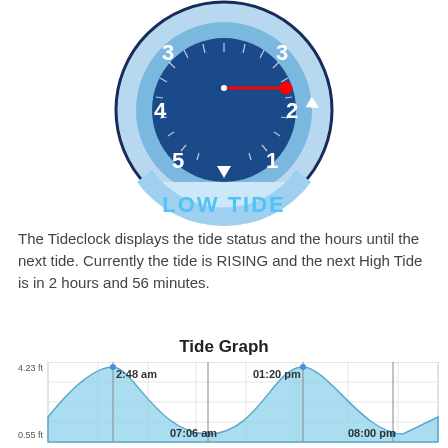[Figure (infographic): Tide clock diagram showing a circular clock face with dark blue inner circle and light blue outer ring. Numbers 1-5 visible, red clock hand pointing near 3. 'LOW TIDE' text in light blue at bottom. White arrow on outer ring pointing clockwise.]
The Tideclock displays the tide status and the hours until the next tide. Currently the tide is RISING and the next High Tide is in 2 hours and 56 minutes.
Tide Graph
[Figure (area-chart): Tide Graph]